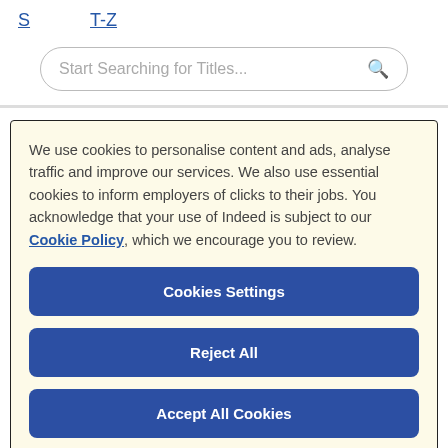S   T-Z
Start Searching for Titles...
We use cookies to personalise content and ads, analyse traffic and improve our services. We also use essential cookies to inform employers of clicks to their jobs. You acknowledge that your use of Indeed is subject to our Cookie Policy, which we encourage you to review.
Cookies Settings
Reject All
Accept All Cookies